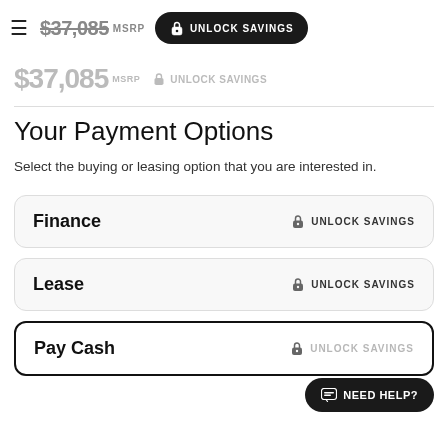$37,085 MSRP UNLOCK SAVINGS
$37,085 MSRP UNLOCK SAVINGS
Your Payment Options
Select the buying or leasing option that you are interested in.
Finance  UNLOCK SAVINGS
Lease  UNLOCK SAVINGS
Pay Cash  UNLOCK SAVINGS
NEED HELP?